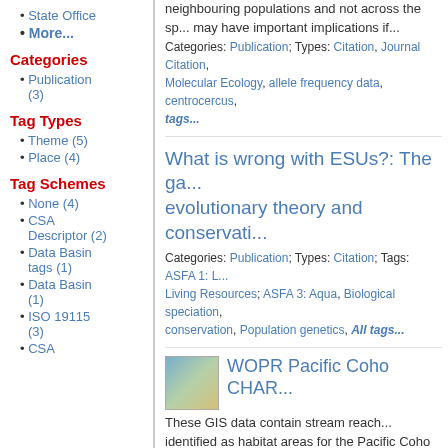State Office
More...
Categories
Publication (3)
Tag Types
Theme (5)
Place (4)
Tag Schemes
None (4)
CSA Descriptor (2)
Data Basin tags (1)
Data Basin (1)
ISO 19115 (3)
CSA
neighbouring populations and not across the sp... may have important implications if...
Categories: Publication; Types: Citation, Journal Citation, Molecular Ecology, allele frequency data, centrocercus, tags...
What is wrong with ESUs?: The ga... evolutionary theory and conservati...
Categories: Publication; Types: Citation; Tags: ASFA 1: L... Living Resources; ASFA 3: Aqua, Biological speciation, conservation, Population genetics, All tags...
WOPR Pacific Coho CHAR...
These GIS data contain stream reach... identified as habitat areas for the Pacific Coho Evolutionarily Significant Unit (ESU).WOPR (W... Revision) PRMP (Proposed Resource Manage... Salmon Pacific Ocean CHART (Critical Habitat... Teams) PCE (Primary Constituent Elements) T... release version of the data fsh_aa_a_coho_cha... were used in the critical habitat analysis condu... Marine Fisheries Service's Critical Habitat Ana... The analysis was conducted as part of the rule...